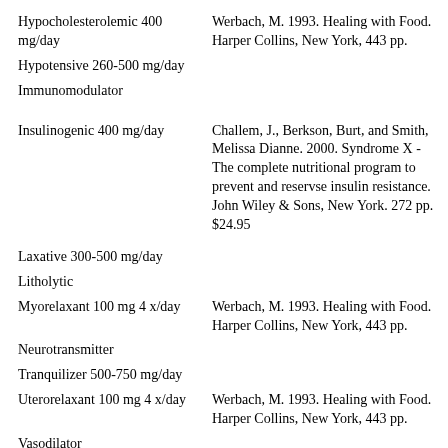| Term/Dosage | Reference |
| --- | --- |
| Hypocholesterolemic 400 mg/day | Werbach, M. 1993. Healing with Food. Harper Collins, New York, 443 pp. |
| Hypotensive 260-500 mg/day |  |
| Immunomodulator |  |
| Insulinogenic 400 mg/day | Challem, J., Berkson, Burt, and Smith, Melissa Dianne. 2000. Syndrome X - The complete nutritional program to prevent and reservse insulin resistance. John Wiley & Sons, New York. 272 pp. $24.95 |
| Laxative 300-500 mg/day |  |
| Litholytic |  |
| Myorelaxant 100 mg 4 x/day | Werbach, M. 1993. Healing with Food. Harper Collins, New York, 443 pp. |
| Neurotransmitter |  |
| Tranquilizer 500-750 mg/day |  |
| Uterorelaxant 100 mg 4 x/day | Werbach, M. 1993. Healing with Food. Harper Collins, New York, 443 pp. |
| Vasodilator |  |